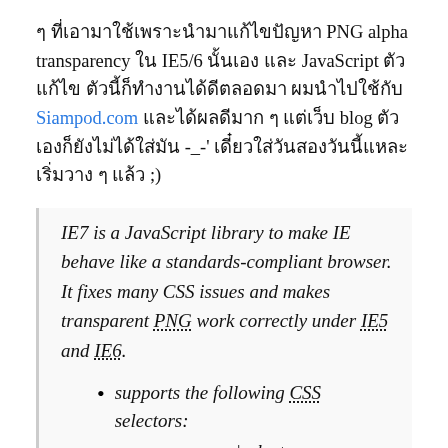ๆ ที่เอามาใช้เพราะนำมาแก้ไขปัญหา PNG alpha transparency ใน IE5/6 นั้นเอง และ JavaScript ตัวแก้ไข ตัวนี้ก็ทำงานได้ดีตลอดมา ผมนำไปใช้กับ Siampod.com และได้ผลดีมาก ๆ แต่เว็บ blog ตัวเองก็ยังไม่ได้ใส่มัน -_-' เดี๋ยวใส่วันสองวันนี้แหละ เริ่มวาง ๆ แล้ว ;)
IE7 is a JavaScript library to make IE behave like a standards-compliant browser. It fixes many CSS issues and makes transparent PNG work correctly under IE5 and IE6.
supports the following CSS selectors:
namespace|selector